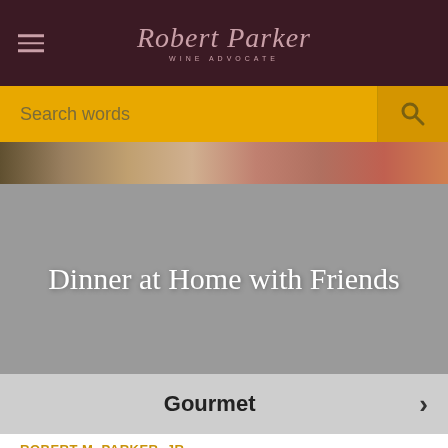[Figure (screenshot): Robert Parker Wine Advocate website header with dark maroon background, hamburger menu icon on left, and stylized cursive logo 'Robert Parker Wine Advocate' in center]
[Figure (screenshot): Gold search bar with placeholder text 'Search words' and search icon on the right]
[Figure (photo): Partial photo of people at a dining event, visible at the top of the hero section]
Dinner at Home with Friends
Gourmet
ROBERT M. PARKER, JR.
01 May 2006 | Dining At Home